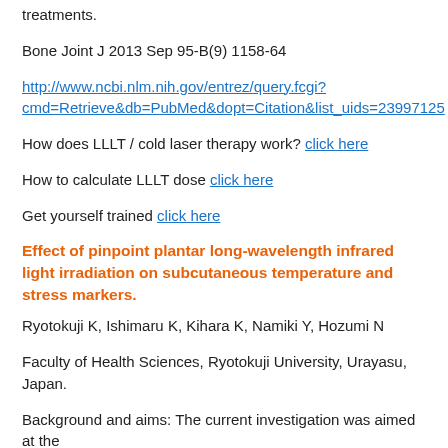treatments.
Bone Joint J 2013 Sep 95-B(9) 1158-64
http://www.ncbi.nlm.nih.gov/entrez/query.fcgi?cmd=Retrieve&db=PubMed&dopt=Citation&list_uids=23997125
How does LLLT / cold laser therapy work? click here
How to calculate LLLT dose click here
Get yourself trained click here
Effect of pinpoint plantar long-wavelength infrared light irradiation on subcutaneous temperature and stress markers.
Ryotokuji K, Ishimaru K, Kihara K, Namiki Y, Hozumi N
Faculty of Health Sciences, Ryotokuji University, Urayasu, Japan.
Background and aims: The current investigation was aimed at the